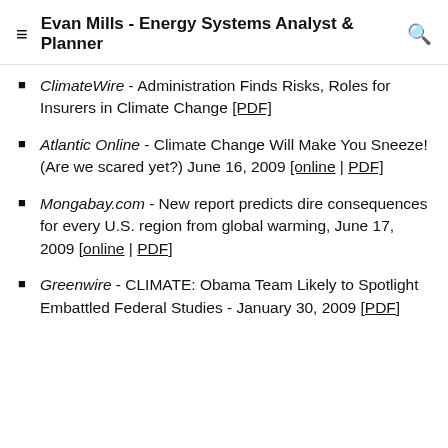Evan Mills - Energy Systems Analyst & Planner
ClimateWire - Administration Finds Risks, Roles for Insurers in Climate Change [PDF]
Atlantic Online - Climate Change Will Make You Sneeze! (Are we scared yet?) June 16, 2009 [online | PDF]
Mongabay.com - New report predicts dire consequences for every U.S. region from global warming, June 17, 2009 [online | PDF]
Greenwire - CLIMATE: Obama Team Likely to Spotlight Embattled Federal Studies - January 30, 2009 [PDF]